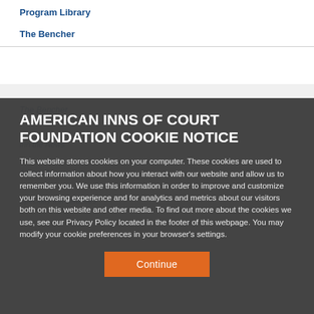Program Library
The Bencher
AMERICAN INNS OF COURT FOUNDATION COOKIE NOTICE
This website stores cookies on your computer. These cookies are used to collect information about how you interact with our website and allow us to remember you. We use this information in order to improve and customize your browsing experience and for analytics and metrics about our visitors both on this website and other media. To find out more about the cookies we use, see our Privacy Policy located in the footer of this webpage. You may modify your cookie preferences in your browser's settings.
Continue